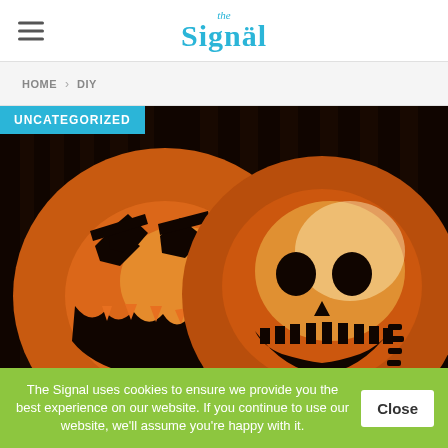the Signal
HOME > DIY
[Figure (photo): Two carved Halloween jack-o-lantern pumpkins glowing in the dark, featuring Nightmare Before Christmas style faces (Oogie Boogie and Jack Skellington), lit from inside with orange light against a dark background with vertical bars.]
UNCATEGORIZED
The Signal uses cookies to ensure we provide you the best experience on our website. If you continue to use our website, we'll assume you're happy with it.
Close